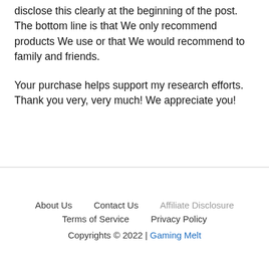disclose this clearly at the beginning of the post. The bottom line is that We only recommend products We use or that We would recommend to family and friends.
Your purchase helps support my research efforts. Thank you very, very much! We appreciate you!
About Us   Contact Us   Affiliate Disclosure   Terms of Service   Privacy Policy   Copyrights © 2022 | Gaming Melt